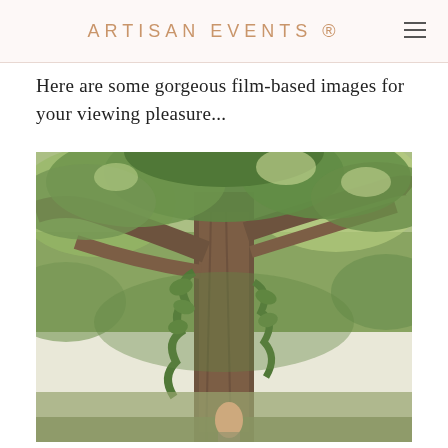ARTISAN EVENTS ®
Here are some gorgeous film-based images for your viewing pleasure...
[Figure (photo): Outdoor photograph of a large oak tree with sprawling branches covered in green leaves and ivy, with a person visible at the base of the tree, taken in a lush garden or park setting.]